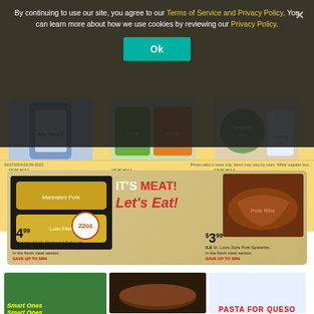By continuing to use our site, you agree to our Terms of Service and Privacy Policy. You can learn more about how we use cookies by reviewing our Privacy Policy.
Ok
[Figure (photo): Aldi grocery flyer showing cheese products: Arla Havarti Cheese 7oz, Violife Plant-Based Cheese Shreds or Slices 7oz, Boursin or The Laughing Cow Cheese Snacks]
NOSH $2.99 Arla Havarti Cheese, 7 oz. In the refrigerated section. SAVE UP TO $4.
NOSH $1.99 Violife Plant-Based Cheese, Shreds or Slices, 7 oz Assorted varieties. In the refrigerated section. SAVE UP TO 67%.
NOSH 99¢ Boursin or the Laughing Cow Cheese Snacks, 1.76-4.33 oz Assorted varieties. In the refrigerated section. SAVE UP TO 84%.
Prices valid in store only. Items may vary by store. While supplies last.
[Figure (photo): IT'S MEAT! Let's Eat! banner with marinated pork loin and St. Louis Style Pork Spareribs. $4.99 Adaptable Meals Marinated Pork Loin Filet, 22 oz assorted varieties. SAVE UP TO 50%. $3.99/LB St. Louis Style Pork Spareribs. SAVE UP TO 50%.]
[Figure (photo): Bottom section showing Smart Ones frozen meals, sausages, and Pasta/Queso product]